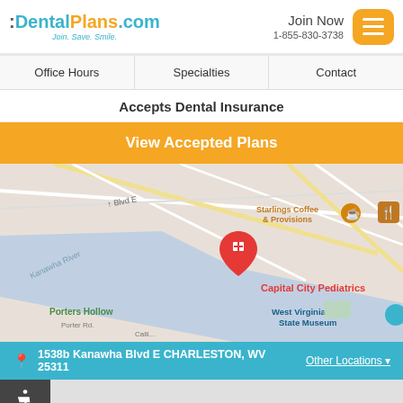[Figure (logo): DentalPlans.com logo with tagline 'Join. Save. Smile.']
Join Now
1-855-830-3738
Office Hours | Specialties | Contact
Accepts Dental Insurance
View Accepted Plans
[Figure (map): Google Maps showing Capital City Pediatrics at 1538b Kanawha Blvd E, Charleston WV. Shows Kanawha River, Porters Hollow, West Virginia State Museum, Starlings Coffee & Provisions.]
1538b Kanawha Blvd E CHARLESTON, WV 25311 | Other Locations ▾